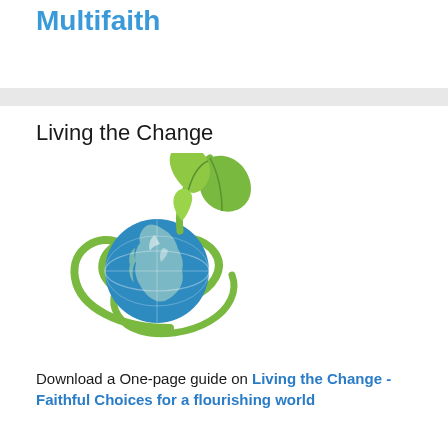Multifaith
[Figure (logo): Globe with green plant/leaf sprouting from it, green swirl around the globe, representing Living the Change environmental initiative]
Living the Change
Download a One-page guide on Living the Change - Faithful Choices for a flourishing world